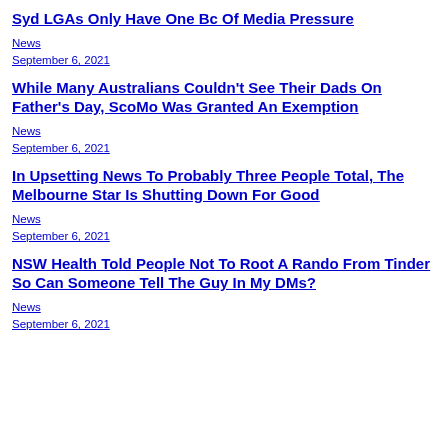Syd LGAs Only Have One Bc Of Media Pressure
News
September 6, 2021
While Many Australians Couldn't See Their Dads On Father's Day, ScoMo Was Granted An Exemption
News
September 6, 2021
In Upsetting News To Probably Three People Total, The Melbourne Star Is Shutting Down For Good
News
September 6, 2021
NSW Health Told People Not To Root A Rando From Tinder So Can Someone Tell The Guy In My DMs?
News
September 6, 2021